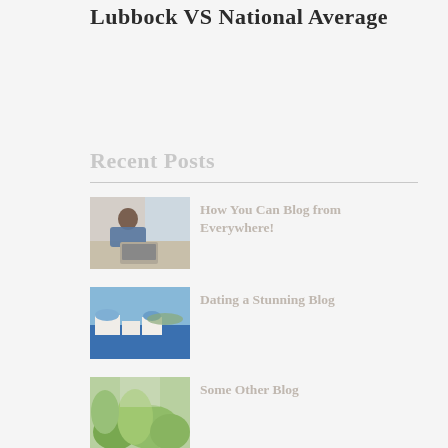Lubbock VS National Average
Recent Posts
[Figure (photo): Man leaning over a desk with a laptop in a bright room]
How You Can Blog from Everywhere!
[Figure (photo): Scenic view of Santorini, Greece with white buildings and blue sea]
Dating a Stunning Blog
[Figure (photo): Green tropical plants indoors]
Some Other Blog